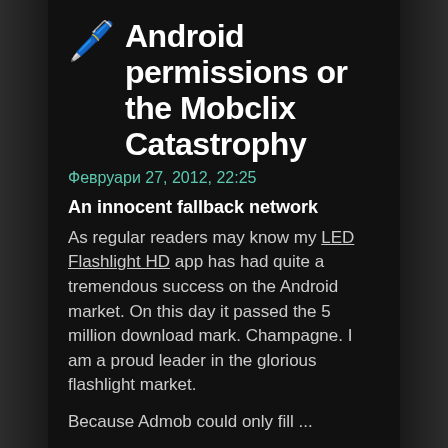Android permissions or the Mobclix Catastrophy
Февруари 27, 2012, 22:25
An innocent fallback network
As regular readers may know my LED Flashlight HD app has had quite a tremendous success on the Android market. On this day it passed the 5 million download mark. Champagne. I am a proud leader in the glorious flashlight market.
Because Admob could only fill ...